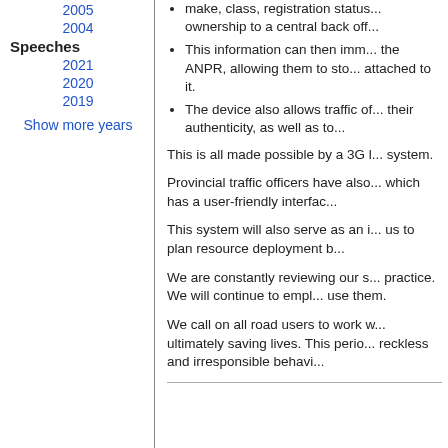2005
2004
Speeches
2021
2020
2019
Show more years
make, class, registration status... ownership to a central back off...
This information can then imm... the ANPR, allowing them to sto... attached to it.
The device also allows traffic of... their authenticity, as well as to...
This is all made possible by a 3G l... system.
Provincial traffic officers have also... which has a user-friendly interfac...
This system will also serve as an i... us to plan resource deployment b...
We are constantly reviewing our s... practice. We will continue to empl... use them.
We call on all road users to work w... ultimately saving lives. This perio... reckless and irresponsible behavi...